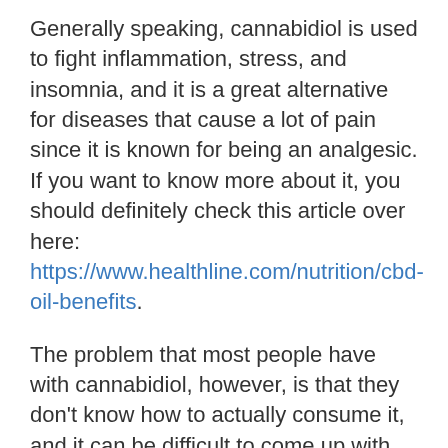Generally speaking, cannabidiol is used to fight inflammation, stress, and insomnia, and it is a great alternative for diseases that cause a lot of pain since it is known for being an analgesic. If you want to know more about it, you should definitely check this article over here: https://www.healthline.com/nutrition/cbd-oil-benefits.
The problem that most people have with cannabidiol, however, is that they don't know how to actually consume it, and it can be difficult to come up with dosages and methods of consumption by yourself. There's also the problem of the flavor!